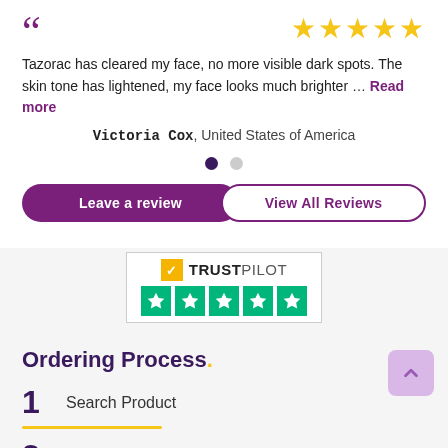Tazorac has cleared my face, no more visible dark spots. The skin tone has lightened, my face looks much brighter … Read more
Victoria Cox, United States of America
[Figure (illustration): Pagination dots: one filled dark purple, one light grey]
[Figure (other): Two buttons: 'Leave a review' (purple filled) and 'View All Reviews' (purple outline)]
[Figure (logo): Trustpilot logo with 5 green stars rating badge]
Ordering Process.
1 Search Product
2 Add to Cart